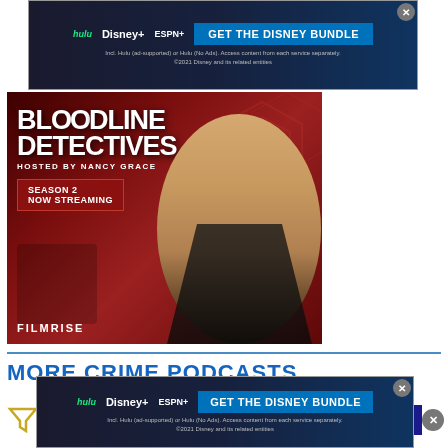[Figure (screenshot): Disney Bundle advertisement banner showing Hulu, Disney+, ESPN+ logos with 'GET THE DISNEY BUNDLE' button. Text: 'Incl. Hulu (ad-supported) or Hulu (No Ads). Access content from each service separately. ©2021 Disney and its related entities']
[Figure (photo): Bloodline Detectives Season 2 promotional image on FilmRise. Shows Nancy Grace in black leather jacket against dark red background. Text: 'BLOODLINE DETECTIVES HOSTED BY NANCY GRACE SEASON 2 NOW STREAMING FILMRISE']
MORE CRIME PODCASTS
[Figure (screenshot): Partial view of a podcast listing with filter icon, close button. Shows 'BODY BAGS WITH JOSEPH SCOTT MORGAN' text on dark blue background.]
[Figure (screenshot): Disney Bundle advertisement banner (bottom). Shows Hulu, Disney+, ESPN+ logos with 'GET THE DISNEY BUNDLE' button. Text: 'Incl. Hulu (ad-supported) or Hulu (No Ads). Access content from each service separately. ©2021 Disney and its related entities']